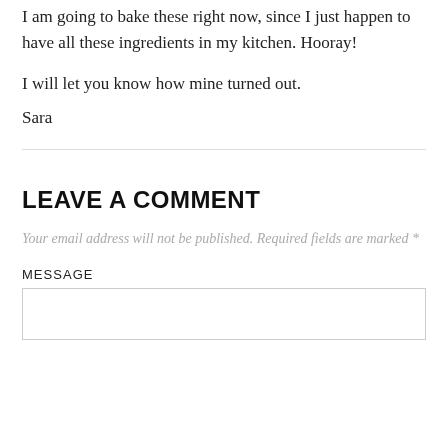I am going to bake these right now, since I just happen to have all these ingredients in my kitchen. Hooray!
I will let you know how mine turned out.
Sara
LEAVE A COMMENT
Your email address will not be published. Required fields are marked *
MESSAGE